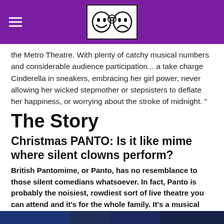Metro Theatre header with logo
the Metro Theatre. With plenty of catchy musical numbers and considerable audience participation... a take charge Cinderella in sneakers, embracing her girl power, never allowing her wicked stepmother or stepsisters to deflate her happiness, or worrying about the stroke of midnight.”
The Story
Christmas PANTO: Is it like mime where silent clowns perform?
British Pantomime, or Panto, has no resemblance to those silent comedians whatsoever. In fact, Panto is probably the noisiest, rowdiest sort of live theatre you can attend and it’s for the whole family. It’s a musical comedy traditionally done for a Christmas treat. It has nothing to do with mimes, those silent performers in white-faces.
[Figure (photo): Bottom image partially visible, dark blue/teal tones]